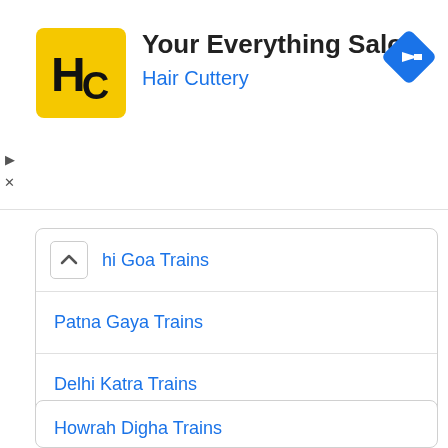[Figure (logo): Hair Cuttery advertisement banner with yellow HC logo, title 'Your Everything Salon', subtitle 'Hair Cuttery', and blue navigation diamond icon]
hi Goa Trains
Patna Gaya Trains
Delhi Katra Trains
Howrah Digha Trains
Bangalore Chennai Trains
Bangalore Mysore Trains
Jodhpur Jaipur Trains